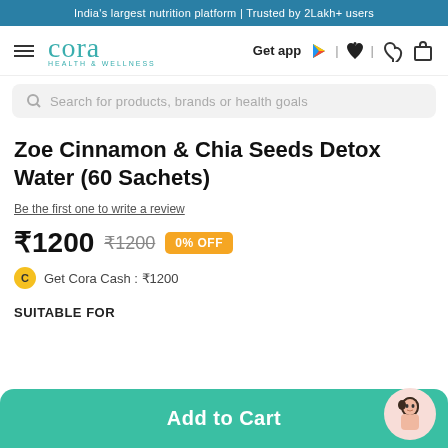India's largest nutrition platform | Trusted by 2Lakh+ users
[Figure (logo): Cora Health & Wellness logo with navigation bar including hamburger menu, Get app links with Google Play and Apple icons, heart icon, and cart icon]
Search for products, brands or health goals
Zoe Cinnamon & Chia Seeds Detox Water (60 Sachets)
Be the first one to write a review
₹1200 ₹1200 0% OFF
Get Cora Cash : ₹1200
SUITABLE FOR
Add to Cart